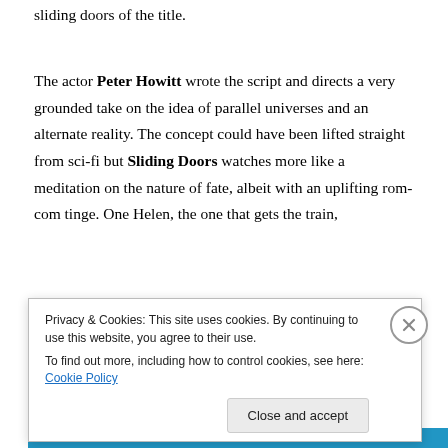sliding doors of the title.
The actor Peter Howitt wrote the script and directs a very grounded take on the idea of parallel universes and an alternate reality. The concept could have been lifted straight from sci-fi but Sliding Doors watches more like a meditation on the nature of fate, albeit with an uplifting rom-com tinge. One Helen, the one that gets the train,
Privacy & Cookies: This site uses cookies. By continuing to use this website, you agree to their use.
To find out more, including how to control cookies, see here: Cookie Policy
Close and accept